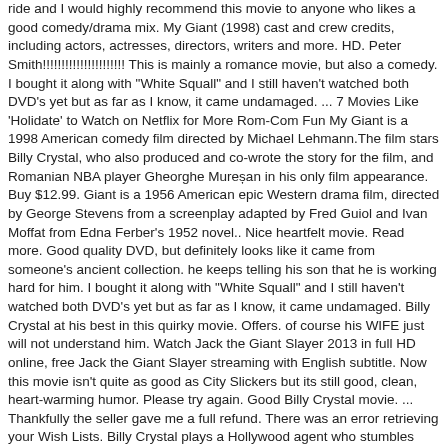ride and I would highly recommend this movie to anyone who likes a good comedy/drama mix. My Giant (1998) cast and crew credits, including actors, actresses, directors, writers and more. HD. Peter Smith!!!!!!!!!!!!!!!!!!!!!! This is mainly a romance movie, but also a comedy. I bought it along with "White Squall" and I still haven't watched both DVD's yet but as far as I know, it came undamaged. ... 7 Movies Like 'Holidate' to Watch on Netflix for More Rom-Com Fun My Giant is a 1998 American comedy film directed by Michael Lehmann.The film stars Billy Crystal, who also produced and co-wrote the story for the film, and Romanian NBA player Gheorghe Mureșan in his only film appearance. Buy $12.99. Giant is a 1956 American epic Western drama film, directed by George Stevens from a screenplay adapted by Fred Guiol and Ivan Moffat from Edna Ferber's 1952 novel.. Nice heartfelt movie. Read more. Good quality DVD, but definitely looks like it came from someone's ancient collection. he keeps telling his son that he is working hard for him. I bought it along with "White Squall" and I still haven't watched both DVD's yet but as far as I know, it came undamaged. Billy Crystal at his best in this quirky movie. Offers. of course his WIFE just will not understand him. Watch Jack the Giant Slayer 2013 in full HD online, free Jack the Giant Slayer streaming with English subtitle. Now this movie isn't quite as good as City Slickers but its still good, clean, heart-warming humor. Please try again. Good Billy Crystal movie. ... Thankfully the seller gave me a full refund. There was an error retrieving your Wish Lists. Billy Crystal plays a Hollywood agent who stumbles upon Max,